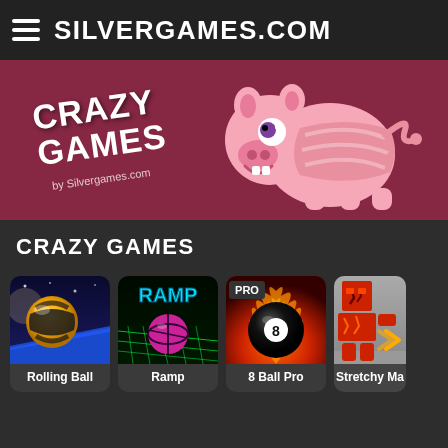SILVERGAMES.COM
[Figure (illustration): Crazy Games banner with pink pig mascot on dark pink/maroon background, text: CRAZY GAMES by Silvergames.com]
CRAZY GAMES
[Figure (illustration): Rolling Ball game thumbnail - yellow and black striped ball on neon ramp]
Rolling Ball
[Figure (illustration): Ramp game thumbnail - neon green ramp with pink ball]
Ramp
[Figure (illustration): 8 Ball Pro game thumbnail - 8 ball with fire and PRO text]
8 Ball Pro
[Figure (illustration): Stretchy Man game thumbnail - red blocky character (partially visible)]
Stretchy Ma